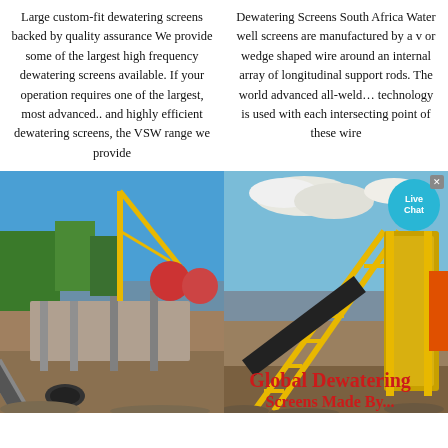Large custom-fit dewatering screens backed by quality assurance We provide some of the largest high frequency dewatering screens available. If your operation requires one of the largest, most advanced.. and highly efficient dewatering screens, the VSW range we provide
Dewatering Screens South Africa Water well screens are manufactured by a v or wedge shaped wire around an internal array of longitudinal support rods. The world advanced all-weld… technology is used with each intersecting point of these wire
[Figure (photo): Industrial dewatering/crushing equipment at an outdoor site with blue sky and palm trees. Yellow crane and conveyor belt machinery visible.]
[Figure (photo): Industrial yellow-framed conveyor belt and crushing/screening equipment at an outdoor site with aggregate material on the ground.]
Global Dewatering Screens Made By...